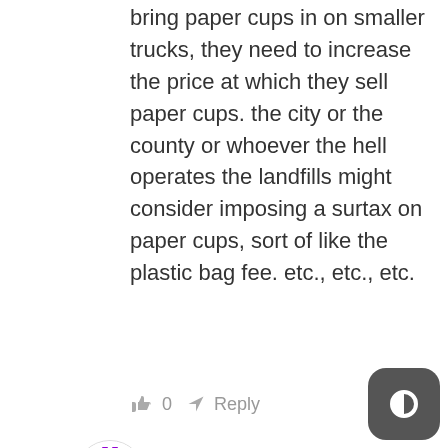bring paper cups in on smaller trucks, they need to increase the price at which they sell paper cups. the city or the county or whoever the hell operates the landfills might consider imposing a surtax on paper cups, sort of like the plastic bag fee. etc., etc., etc.
👍 0   ➤ Reply
[Figure (illustration): Circular avatar with purple snowflake/geometric pattern on white background]
wsbob  🕐 10 years ago  ⬤ share  🔗
Reply to Schrauf
"…And besides, any costs related to mandated safety improvments should be passed on down the line to customers. If not, either their business model is flawed, or they are dinosaurs unable to compete with more efficient competitors."